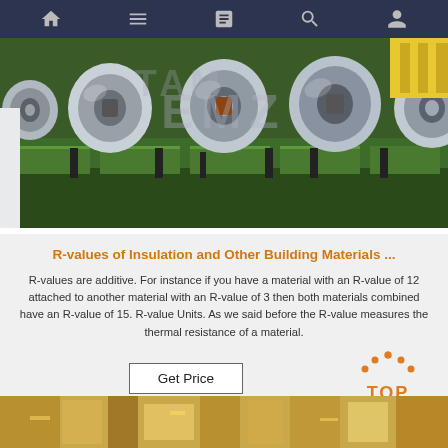Navigation bar with home, menu, document, search, profile icons
[Figure (photo): Industrial photo of large metallic coil rolls on a green manufacturing floor, with watermark text overlay]
R-values of Insulation and Other Building Materials ...
R-values are additive. For instance if you have a material with an R-value of 12 attached to another material with an R-value of 3 then both materials combined have an R-value of 15. R-value Units. As we said before the R-value measures the thermal resistance of a material.
[Figure (logo): Orange dotted triangle TOP badge/logo]
[Figure (photo): Bottom strip showing a warm-toned industrial or food manufacturing image]